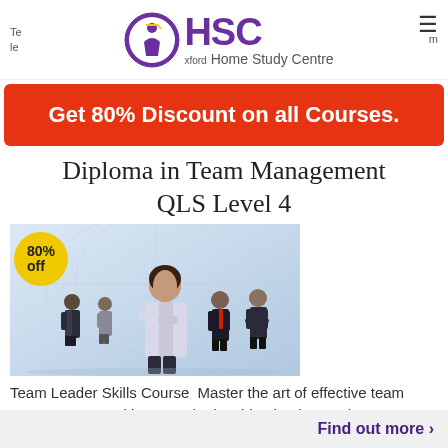Te xford Home Study Centre le m
Get 80% Discount on all Courses.
Diploma in Team Management QLS Level 4
[Figure (photo): Photo of business team with woman in foreground, arms crossed, wearing light suit. Several business people behind her. 80% off badge in yellow circle top-left.]
Team Leader Skills Course  Master the art of effective team management and become the inspiring leader you know you...
Find out more >